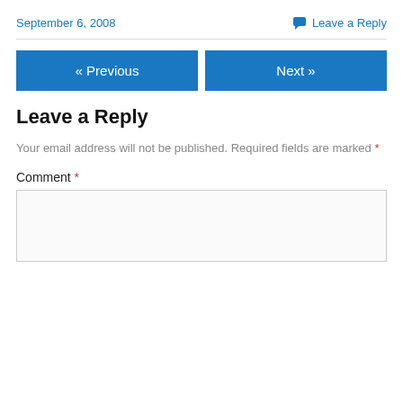September 6, 2008    Leave a Reply
Leave a Reply
Your email address will not be published. Required fields are marked *
Comment *